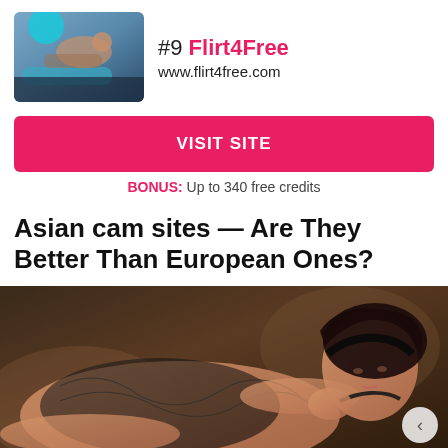[Figure (photo): Thumbnail photo of a woman in a bikini lounging on a blue chair]
#9 Flirt4Free
www.flirt4free.com
VISIT SITE
BONUS: Up to 340 free credits
Asian cam sites — Are They Better Than European Ones?
[Figure (photo): Photo of an Asian woman in black lace lingerie posed on a surface]